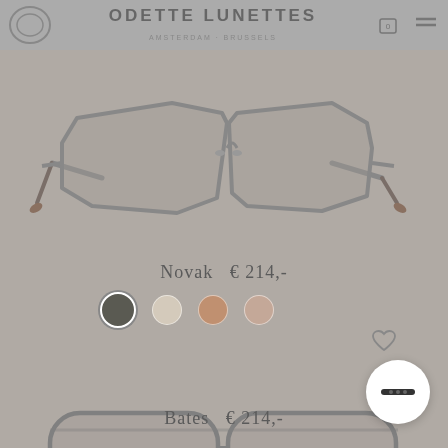ODETTE LUNETTES
[Figure (photo): Product photo of Novak eyeglasses — angular metal frames in grey/gunmetal, front-facing view on grey background]
Novak  € 214,-
[Figure (infographic): Four color swatches: dark grey/black, light beige, warm tan/brown, muted rose]
[Figure (photo): Product photo of Bates eyeglasses — large rounded metal frames in gunmetal, front-facing view on grey background]
Bates  € 214,-